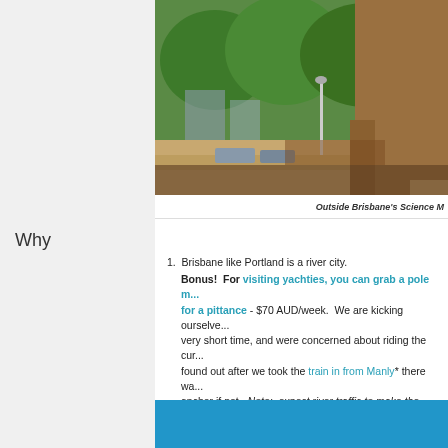[Figure (photo): Outdoor photo showing a large bronze animal sculpture in the foreground with green trees and urban buildings in the background. Outside Brisbane's Science Museum area.]
Outside Brisbane's Science M...
Why
Brisbane like Portland is a river city. Bonus! For visiting yachties, you can grab a pole m... for a pittance - $70 AUD/week. We are kicking ourselves very short time, and were concerned about riding the cur... found out after we took the train in from Manly* there wa... anchor if not. Note: expect river traffic to make the anch... consider opting out of this otherwise happening spot.
[Figure (photo): Blue image block at bottom of page.]